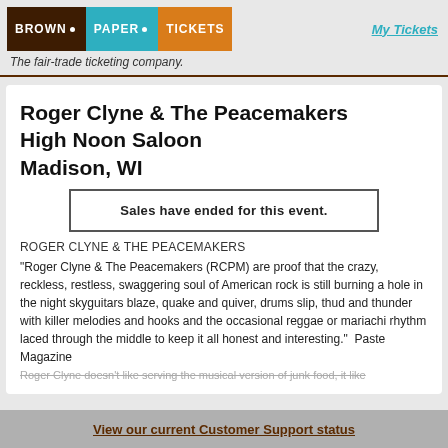[Figure (logo): Brown Paper Tickets logo with three colored blocks: brown (BROWN), teal (PAPER), orange (TICKETS) with dot separators]
My Tickets
The fair-trade ticketing company.
Roger Clyne & The Peacemakers
High Noon Saloon
Madison, WI
Sales have ended for this event.
ROGER CLYNE & THE PEACEMAKERS
"Roger Clyne & The Peacemakers (RCPM) are proof that the crazy, reckless, restless, swaggering soul of American rock is still burning a hole in the night skyguitars blaze, quake and quiver, drums slip, thud and thunder with killer melodies and hooks and the occasional reggae or mariachi rhythm laced through the middle to keep it all honest and interesting."  Paste Magazine
Roger Clyne doesn't like serving the musical version of junk food, it like
View our current Customer Support status